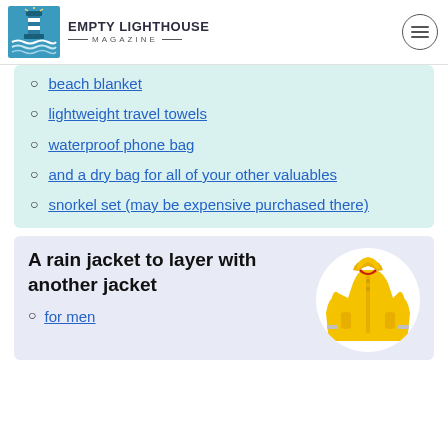EMPTY LIGHTHOUSE MAGAZINE
beach blanket
lightweight travel towels
waterproof phone bag
and a dry bag for all of your other valuables
snorkel set (may be expensive purchased there)
A rain jacket to layer with another jacket
for men
[Figure (illustration): Yellow children's rain jacket with hood and reflective stripes, displayed on a white circular background]